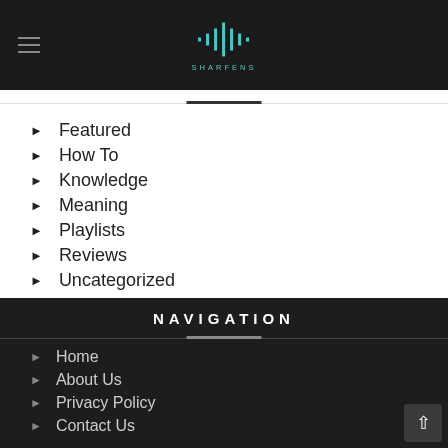SHARFENS
Featured
How To
Knowledge
Meaning
Playlists
Reviews
Uncategorized
NAVIGATION
Home
About Us
Privacy Policy
Contact Us